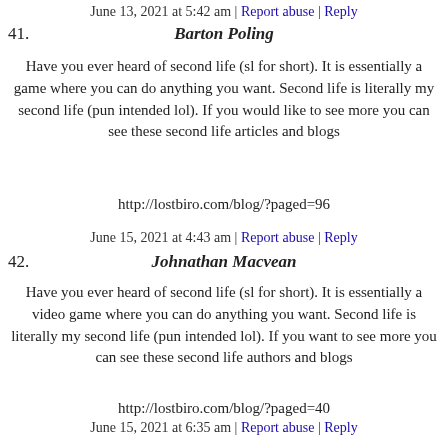June 13, 2021 at 5:42 am | Report abuse | Reply
41. Barton Poling
Have you ever heard of second life (sl for short). It is essentially a game where you can do anything you want. Second life is literally my second life (pun intended lol). If you would like to see more you can see these second life articles and blogs
http://lostbiro.com/blog/?paged=96
June 15, 2021 at 4:43 am | Report abuse | Reply
42. Johnathan Macvean
Have you ever heard of second life (sl for short). It is essentially a video game where you can do anything you want. Second life is literally my second life (pun intended lol). If you want to see more you can see these second life authors and blogs
http://lostbiro.com/blog/?paged=40
June 15, 2021 at 6:35 am | Report abuse | Reply
43. Ellyn Lerew
Have you ever heard of second life (sl for short). It is